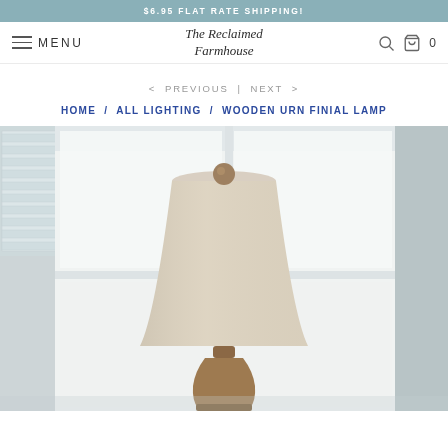$6.95 FLAT RATE SHIPPING!
MENU
The Reclaimed Farmhouse
< PREVIOUS | NEXT >
HOME / ALL LIGHTING / WOODEN URN FINIAL LAMP
[Figure (photo): Product photo of a table lamp with a beige/linen drum shade and a brown wooden urn-shaped base, photographed in a bright room with white shuttered windows in the background.]